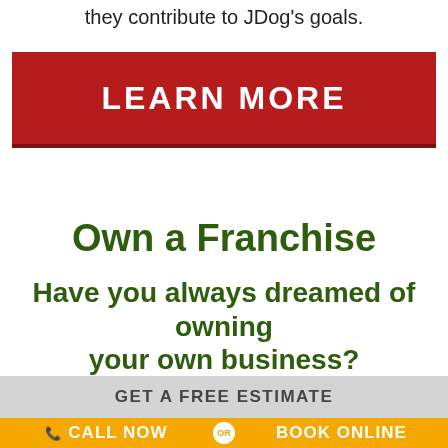they contribute to JDog's goals.
[Figure (other): Red button/banner with white bold text reading LEARN MORE]
Own a Franchise
Have you always dreamed of owning your own business?
GET A FREE ESTIMATE
CALL NOW  OR  BOOK ONLINE